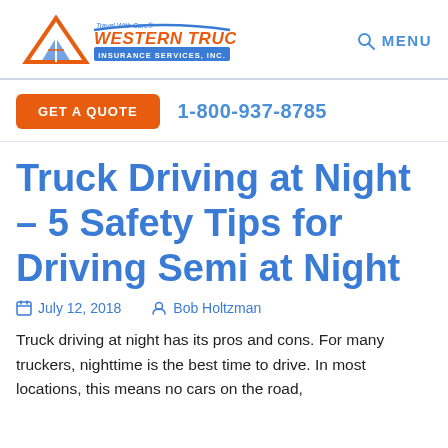Western Truck Insurance Services, Inc. — Travel With Care® | MENU
GET A QUOTE   1-800-937-8785
Truck Driving at Night – 5 Safety Tips for Driving Semi at Night
July 12, 2018   Bob Holtzman
Truck driving at night has its pros and cons. For many truckers, nighttime is the best time to drive. In most locations, this means no cars on the road,